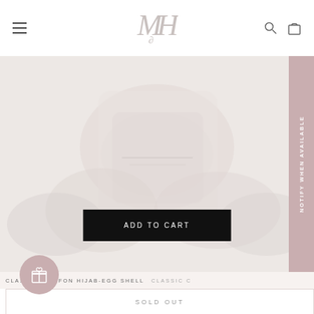MH logo with hamburger menu, search icon, and bag icon
[Figure (screenshot): E-commerce product page showing a folded/draped light-colored chiffon hijab fabric on a pale pinkish-beige background. An 'ADD TO CART' button in black is overlaid on the product image. A vertical 'NOTIFY WHEN AVAILABLE' sidebar button is on the right.]
CLASSIC CHIFFON HIJAB-EGG SHELL
CLASSIC C
SOLD OUT